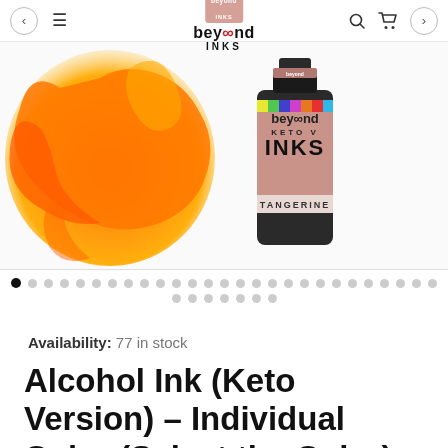beyond INKS
[Figure (photo): Product photo: A bottle of Beyond Inks 'Tangerine' alcohol ink (Keto Version) with a mauve/pink label, alongside an orange ink splash/blob on the left side of the image.]
Availability: 77 in stock
Alcohol Ink (Keto Version) – Individual Color (Select the Color)